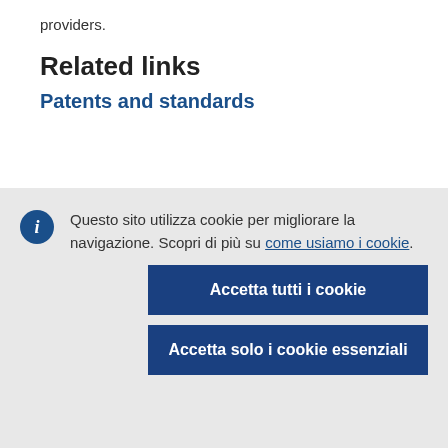providers.
Related links
Patents and standards
Questo sito utilizza cookie per migliorare la navigazione. Scopri di più su come usiamo i cookie.
Accetta tutti i cookie
Accetta solo i cookie essenziali